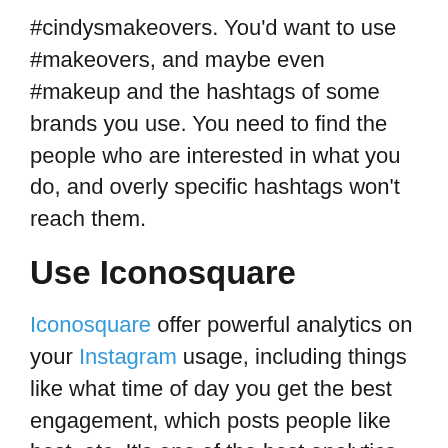#cindysmakeovers. You'd want to use #makeovers, and maybe even #makeup and the hashtags of some brands you use. You need to find the people who are interested in what you do, and overly specific hashtags won't reach them.
Use Iconosquare
Iconosquare offer powerful analytics on your Instagram usage, including things like what time of day you get the best engagement, which posts people like best, etc. It's one of the best analytics offerings out there, and you'd be mad to pass up the opportunity to